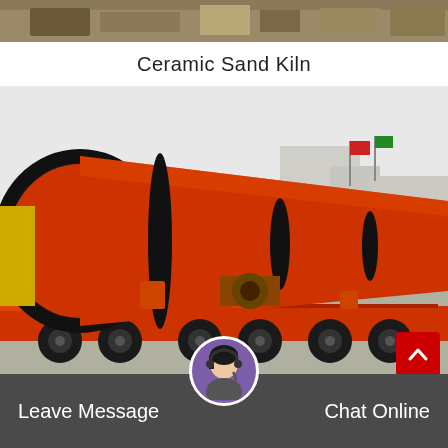[Figure (photo): Partial view of industrial equipment or machinery at the top of the page, brownish/beige tones]
Ceramic Sand Kiln
[Figure (photo): Large orange rotary kiln drum mounted on a flatbed truck/trailer at an industrial facility. The drum is cylindrical, painted orange with black bands, and is being transported.]
Leave Message  Dryer Online  Chat Online